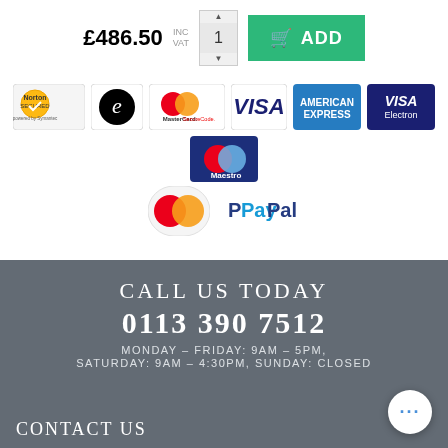[Figure (screenshot): Price display showing £486.50 INC VAT with quantity spinner showing 1 and a green ADD button with basket icon]
[Figure (infographic): Payment method badges: Norton Secured, Comodo e-commerce, MasterCard SecureCode, VISA, American Express, VISA Electron, Maestro, MasterCard, PayPal]
CALL US TODAY
0113 390 7512
MONDAY - FRIDAY: 9AM - 5PM, SATURDAY: 9AM - 4:30PM, SUNDAY: CLOSED
CONTACT US